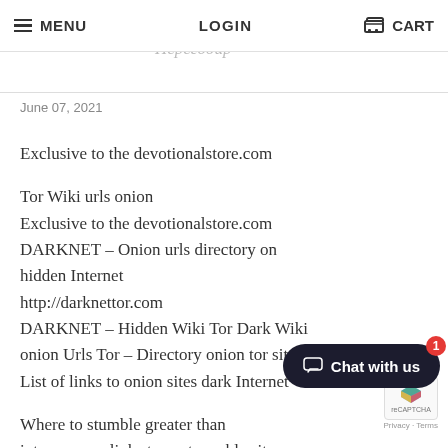MENU   LOGIN   CART
Перегодир
June 07, 2021
Exclusive to the devotionalstore.com

Tor Wiki urls onion
Exclusive to the devotionalstore.com
DARKNET – Onion urls directory on hidden Internet
http://darknettor.com
DARKNET – Hidden Wiki Tor Dark Wiki onion Urls Tor – Directory onion tor sites
List of links to onion sites dark Internet

Where to stumble greater than into uncover links to unstoppable sites on